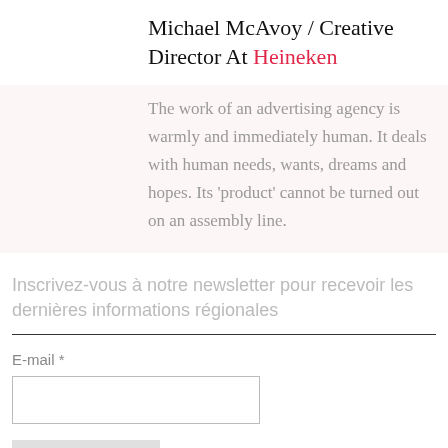Michael McAvoy / Creative Director At Heineken
The work of an advertising agency is warmly and immediately human. It deals with human needs, wants, dreams and hopes. Its 'product' cannot be turned out on an assembly line.
Inscrivez-vous à notre newsletter pour recevoir les dernières informations régionales
E-mail *
Je m'abonne !